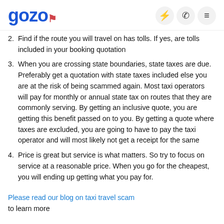gozo
2. Find if the route you will travel on has tolls. If yes, are tolls included in your booking quotation
3. When you are crossing state boundaries, state taxes are due. Preferably get a quotation with state taxes included else you are at the risk of being scammed again. Most taxi operators will pay for monthly or annual state tax on routes that they are commonly serving. By getting an inclusive quote, you are getting this benefit passed on to you. By getting a quote where taxes are excluded, you are going to have to pay the taxi operator and will most likely not get a receipt for the same
4. Price is great but service is what matters. So try to focus on service at a reasonable price. When you go for the cheapest, you will ending up getting what you pay for.
Please read our blog on taxi travel scam
to learn more